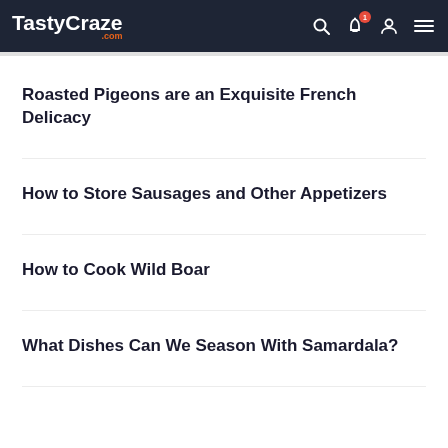TastyCraze.com
Roasted Pigeons are an Exquisite French Delicacy
How to Store Sausages and Other Appetizers
How to Cook Wild Boar
What Dishes Can We Season With Samardala?